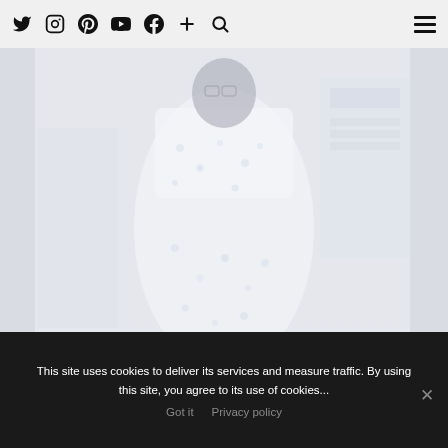Twitter Instagram Pinterest YouTube Facebook + Search [hamburger menu]
[Figure (photo): A faded/washed-out photograph of a woman wearing a white floral patterned dress, standing in front of a colorful decorative background. The image appears semi-transparent or heavily lightened.]
This site uses cookies to deliver its services and measure traffic. By using this site, you agree to its use of cookies...
Got it   Privacy policy